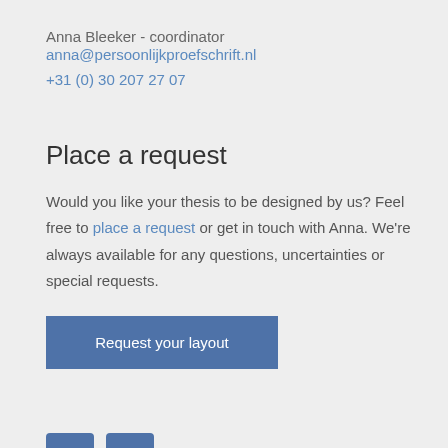Anna Bleeker - coordinator
anna@persoonlijkproefschrift.nl
+31 (0) 30 207 27 07
Place a request
Would you like your thesis to be designed by us? Feel free to place a request or get in touch with Anna. We’re always available for any questions, uncertainties or special requests.
Request your layout
[Figure (logo): Facebook and LinkedIn social media icon buttons in blue]